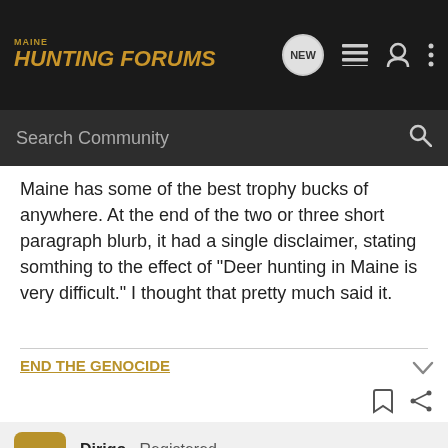MAINE HUNTING FORUMS
Maine has some of the best trophy bucks of anywhere. At the end of the two or three short paragraph blurb, it had a single disclaimer, stating somthing to the effect of "Deer hunting in Maine is very difficult." I thought that pretty much said it.
END THE GENOCIDE
Dirigo · Registered
Joined Oct 9, 2005 · 155 Posts
#3 · Nov 16, 2005